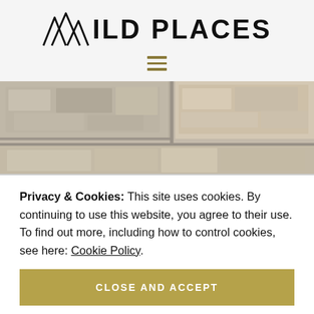WILD PLACES
[Figure (illustration): Stone/brick wall texture photo, close-up of rough textured stone blocks in grey and beige tones]
Privacy & Cookies: This site uses cookies. By continuing to use this website, you agree to their use.
To find out more, including how to control cookies, see here: Cookie Policy
CLOSE AND ACCEPT
[Figure (photo): Stone wall texture photo strip at bottom of page]